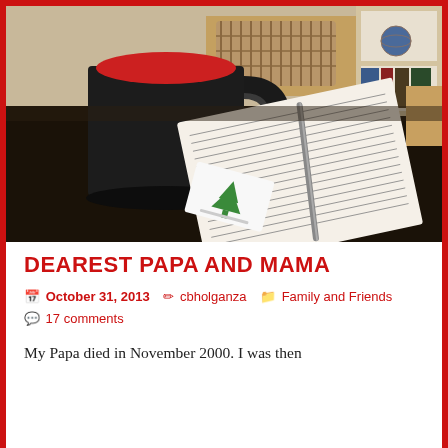[Figure (photo): A dark table with a black coffee mug with red interior, an open notebook with handwritten text and a pen, and a small tea bag with a green tree logo. In the background are wicker baskets, wooden furniture, and bookshelves.]
DEAREST PAPA AND MAMA
October 31, 2013   cbholganza   Family and Friends   17 comments
My Papa died in November 2000. I was then